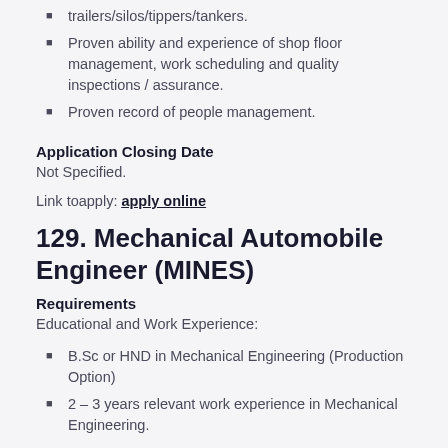trailers/silos/tippers/tankers.
Proven ability and experience of shop floor management, work scheduling and quality inspections / assurance.
Proven record of people management.
Application Closing Date
Not Specified.
Link toapply: apply online
129. Mechanical Automobile Engineer (MINES)
Requirements
Educational and Work Experience:
B.Sc or HND in Mechanical Engineering (Production Option)
2 – 3 years relevant work experience in Mechanical Engineering.